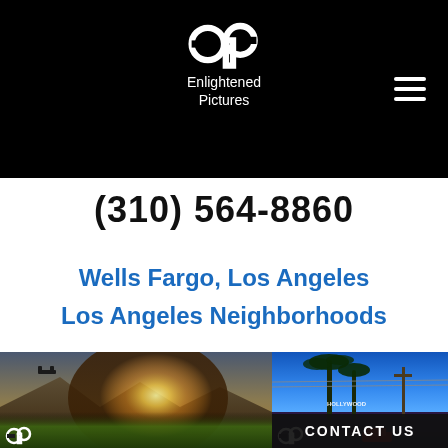Enlightened Pictures
(310) 564-8860
Wells Fargo, Los Angeles
Los Angeles Neighborhoods
[Figure (photo): Drone operator photographing with sunburst in mountain landscape]
[Figure (photo): Hollywood sign visible through palm trees on blue-tinted LA street]
CONTACT US